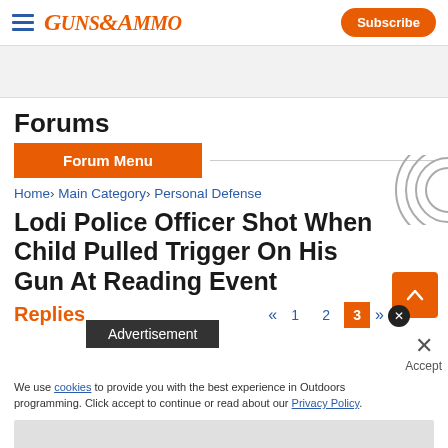GUNS&AMMO — Subscribe
[Figure (other): Gray advertisement banner area]
Forums
Forum Menu
Home › Main Category › Personal Defense
Lodi Police Officer Shot When Child Pulled Trigger On His Gun At Reading Event
Advertisement
Replies « 1 2 3 »
We use cookies to provide you with the best experience in Outdoors programming. Click accept to continue or read about our Privacy Policy.